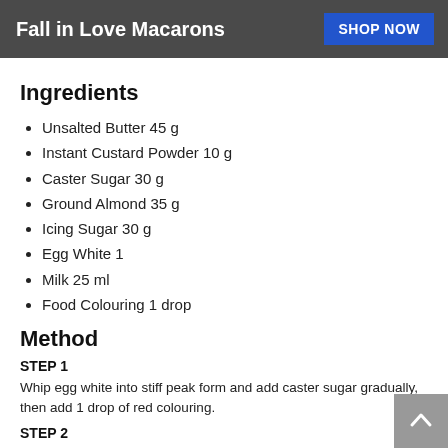Fall in Love Macarons  SHOP NOW
Ingredients
Unsalted Butter 45 g
Instant Custard Powder 10 g
Caster Sugar 30 g
Ground Almond 35 g
Icing Sugar 30 g
Egg White 1
Milk 25 ml
Food Colouring 1 drop
Method
STEP 1
Whip egg white into stiff peak form and add caster sugar gradually, then add 1 drop of red colouring.
STEP 2